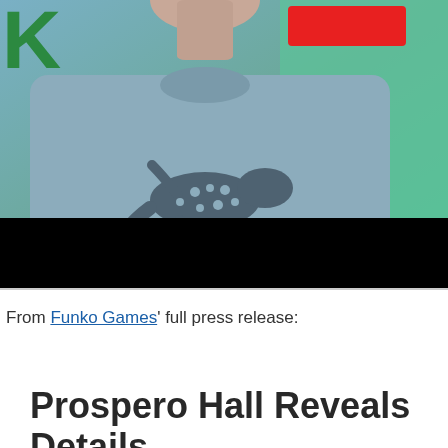[Figure (photo): Photo of a person wearing a light blue t-shirt with a lizard/gecko graphic made of small icons. The upper portion shows the person from chest up, partially cropped. A black bar covers the lower portion of the photo. There is a red badge/label in the upper right area and partial green logo text on the upper left.]
From Funko Games' full press release:
Prospero Hall Reveals Details